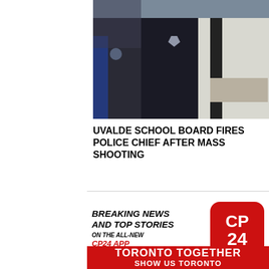[Figure (photo): Police officers in uniform gathered together, one wearing a badge and uniform hat visible.]
UVALDE SCHOOL BOARD FIRES POLICE CHIEF AFTER MASS SHOOTING
[Figure (infographic): CP24 advertisement: BREAKING NEWS AND TOP STORIES ON THE ALL-NEW CP24 APP with CP24 logo]
[Figure (infographic): Toronto Together red banner with white text: TORONTO TOGETHER / SHOW US TORONTO]